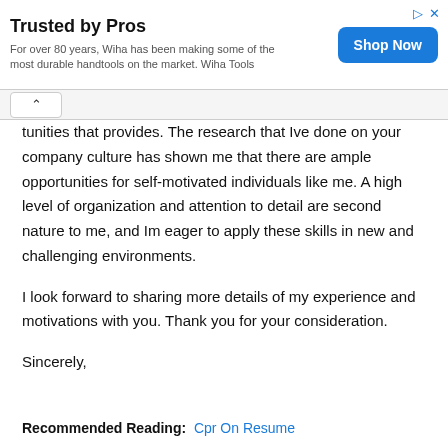[Figure (other): Advertisement banner: 'Trusted by Pros' - For over 80 years, Wiha has been making some of the most durable handtools on the market. Wiha Tools. With a blue 'Shop Now' button.]
tunities that provides. The research that Ive done on your company culture has shown me that there are ample opportunities for self-motivated individuals like me. A high level of organization and attention to detail are second nature to me, and Im eager to apply these skills in new and challenging environments.
I look forward to sharing more details of my experience and motivations with you. Thank you for your consideration.
Sincerely,
Recommended Reading: Cpr On Resume